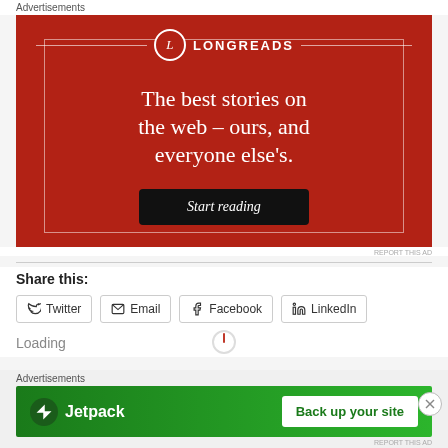Advertisements
[Figure (illustration): Longreads advertisement on red background with logo, tagline 'The best stories on the web – ours, and everyone else's.' and 'Start reading' button]
REPORT THIS AD
Share this:
Twitter
Email
Facebook
LinkedIn
Loading
Advertisements
[Figure (illustration): Jetpack advertisement on green background with logo and 'Back up your site' button]